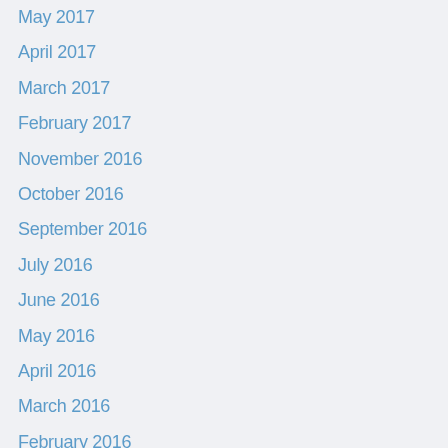May 2017
April 2017
March 2017
February 2017
November 2016
October 2016
September 2016
July 2016
June 2016
May 2016
April 2016
March 2016
February 2016